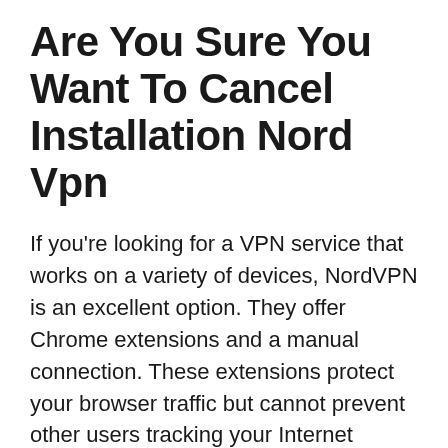Are You Sure You Want To Cancel Installation Nord Vpn
If you're looking for a VPN service that works on a variety of devices, NordVPN is an excellent option. They offer Chrome extensions and a manual connection. These extensions protect your browser traffic but cannot prevent other users tracking your Internet activity. In order to keep your personal data safe, you can block the WebRTC protocol, which uses JavaScript and is particularly vulnerable. In addition, you can use CyberSec to encrypt the browser connection between you and your VPN. This feature is available on every NordVPN server.